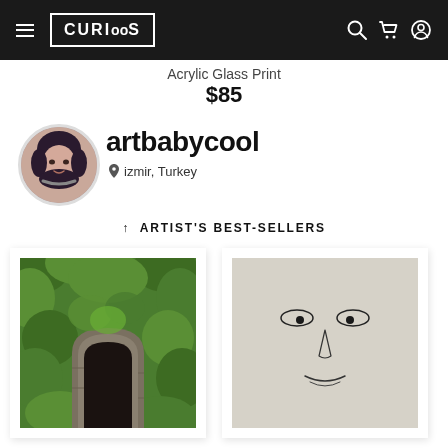CURIOOS navigation header with hamburger menu, logo, search, cart, and user icons
Acrylic Glass Print
$85
[Figure (photo): Circular avatar photo of artist artbabycool, a dark-haired woman with headphones around her neck]
artbabycool
izmir, Turkey
ARTIST'S BEST-SELLERS
[Figure (photo): Framed art print showing a stone archway tunnel overgrown with lush green ivy/foliage]
[Figure (illustration): Framed art print showing a simple line-drawing face on a light grey background]